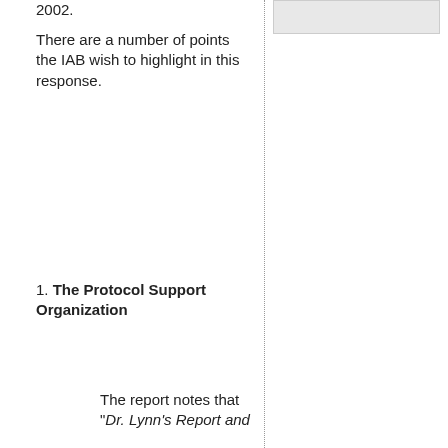2002.
There are a number of points the IAB wish to highlight in this response.
1. The Protocol Support Organization
The report notes that "Dr. Lynn's Report and